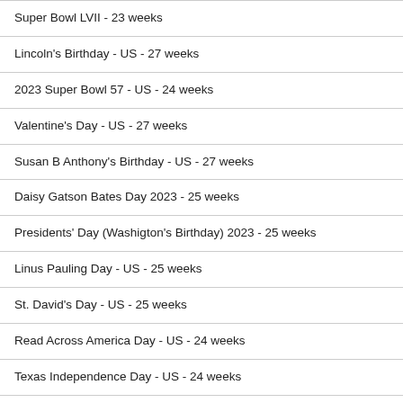Super Bowl LVII - 23 weeks
Lincoln's Birthday - US - 27 weeks
2023 Super Bowl 57 - US - 24 weeks
Valentine's Day - US - 27 weeks
Susan B Anthony's Birthday - US - 27 weeks
Daisy Gatson Bates Day 2023 - 25 weeks
Presidents' Day (Washigton's Birthday) 2023 - 25 weeks
Linus Pauling Day - US - 25 weeks
St. David's Day - US - 25 weeks
Read Across America Day - US - 24 weeks
Texas Independence Day - US - 24 weeks
Maryland Day - US - 21 weeks